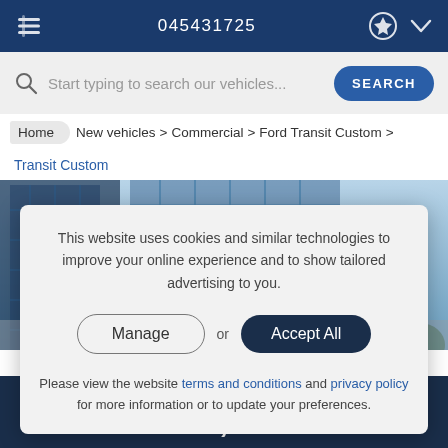045431725
Start typing to search our vehicles...
Home  New vehicles > Commercial > Ford Transit Custom >
Transit Custom
[Figure (screenshot): Background image of a building with blue glass facade]
This website uses cookies and similar technologies to improve your online experience and to show tailored advertising to you.
Manage or Accept All
Please view the website terms and conditions and privacy policy for more information or to update your preferences.
STARTING FROM €32,783